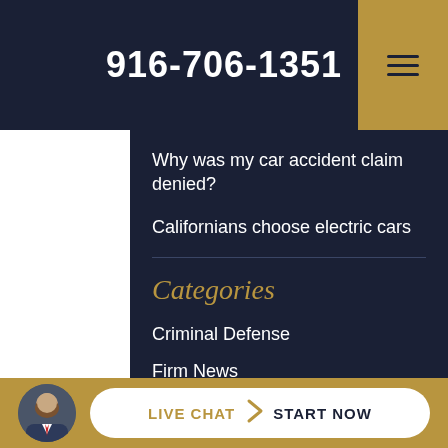916-706-1351
Why was my car accident claim denied?
Californians choose electric cars
Categories
Criminal Defense
Firm News
Motor Vehicle Accidents
LIVE CHAT  START NOW